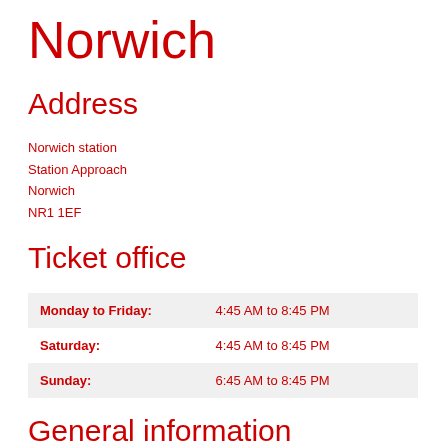Norwich
Address
Norwich station
Station Approach
Norwich
NR1 1EF
Ticket office
| Day | Hours |
| --- | --- |
| Monday to Friday: | 4:45 AM to 8:45 PM |
| Saturday: | 4:45 AM to 8:45 PM |
| Sunday: | 6:45 AM to 8:45 PM |
General information